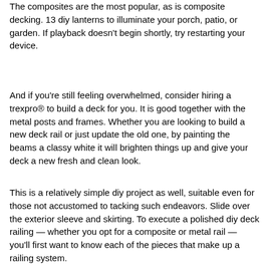The composites are the most popular, as is composite decking. 13 diy lanterns to illuminate your porch, patio, or garden. If playback doesn't begin shortly, try restarting your device.
And if you're still feeling overwhelmed, consider hiring a trexpro® to build a deck for you. It is good together with the metal posts and frames. Whether you are looking to build a new deck rail or just update the old one, by painting the beams a classy white it will brighten things up and give your deck a new fresh and clean look.
This is a relatively simple diy project as well, suitable even for those not accustomed to tacking such endeavors. Slide over the exterior sleeve and skirting. To execute a polished diy deck railing — whether you opt for a composite or metal rail — you'll first want to know each of the pieces that make up a railing system.